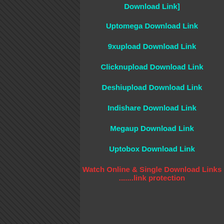Download Link]
Uptomega Download Link
9xupload Download Link
Clicknupload Download Link
Deshiupload Download Link
Indishare Download Link
Megaup Download Link
Uptobox Download Link
Watch Online & Single Download Links .......link protection